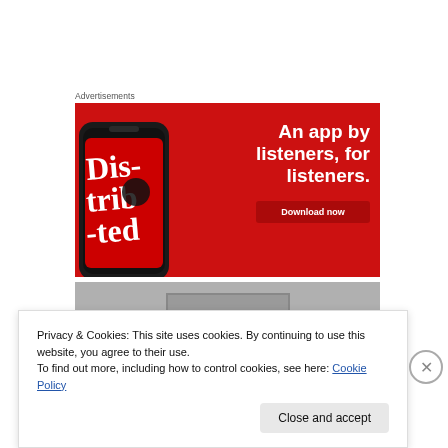Advertisements
[Figure (illustration): Red advertisement banner for a podcast app showing a smartphone with 'Distributed' podcast cover and text 'An app by listeners, for listeners.' with a Download now button]
[Figure (photo): Gray stone or concrete surface photo partially visible]
Privacy & Cookies: This site uses cookies. By continuing to use this website, you agree to their use.
To find out more, including how to control cookies, see here: Cookie Policy
Close and accept